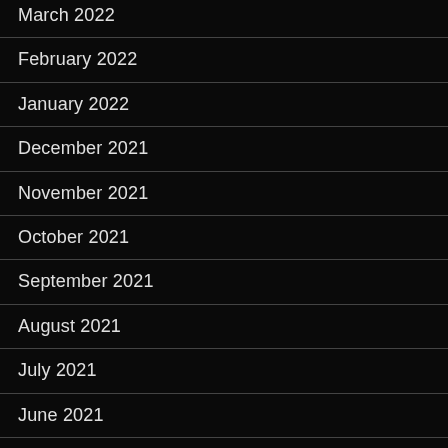March 2022
February 2022
January 2022
December 2021
November 2021
October 2021
September 2021
August 2021
July 2021
June 2021
September 2020
August 2020
July 2020